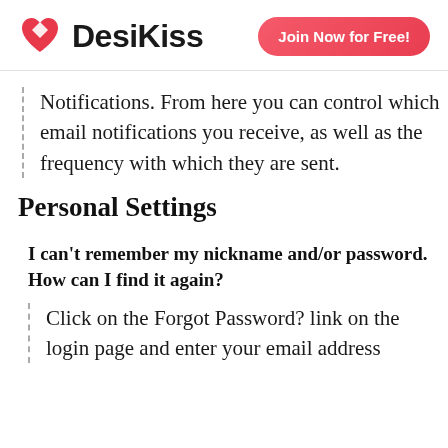DesiKiss — Join Now for Free!
Notifications. From here you can control which email notifications you receive, as well as the frequency with which they are sent.
Personal Settings
I can't remember my nickname and/or password. How can I find it again?
Click on the Forgot Password? link on the login page and enter your email address